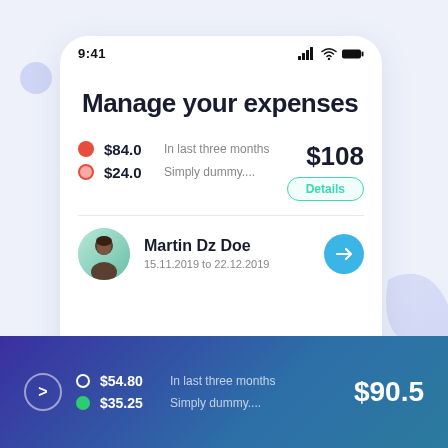[Figure (screenshot): Mobile app UI showing expense management screen with status bar showing 9:41, heading 'Manage your expenses', two expense rows ($84.0 In last three months, $24.0 Simply dummy...), total $108, Details button, person card for Martin Dz Doe 15.11.2019 to 22.12.2019, and bottom dark card with $54.80 In last three months, $35.25 Simply dummy..., total $90.5]
9:41
Manage your expenses
$84.0   In last three months   $108
$24.0   Simply dummy....   Details
Martin Dz Doe
15.11.2019 to 22.12.2019
$54.80   In last three months
$35.25   Simply dummy....   $90.5